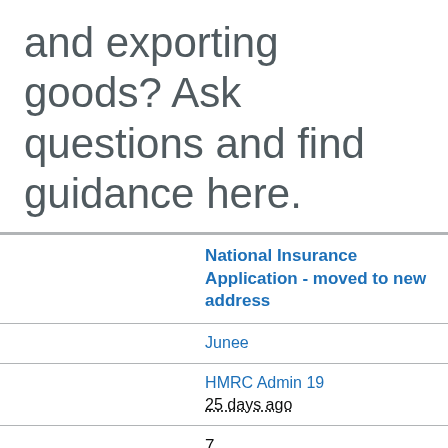and exporting goods? Ask questions and find guidance here.
National Insurance Application - moved to new address
Junee
HMRC Admin 19
25 days ago
7
Importing goods from EU to UK into a customs Warehouse